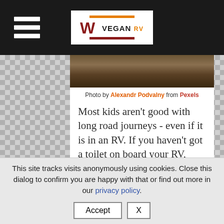[Figure (logo): Vegan RV website logo with hamburger menu on dark nav bar]
[Figure (photo): Partial outdoor/nature photo at top of content card]
Photo by Alexandr Podvalny from Pexels
Most kids aren't good with long road journeys - even if it is in an RV. If you haven't got a toilet on board your RV, make sure to plan stops so that your little one can use the toilet, especially if they're a toddler just learning to use the toilet for the first time. Frequent
This site tracks visits anonymously using cookies. Close this dialog to confirm you are happy with that or find out more in our privacy policy.